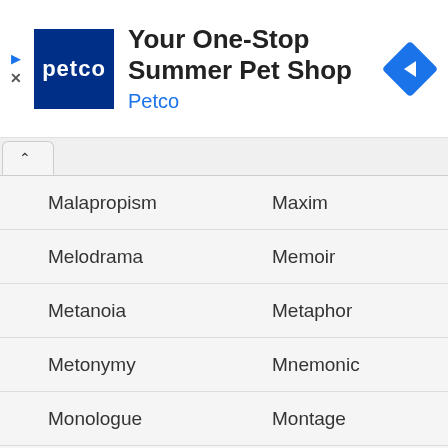[Figure (other): Petco advertisement banner: Petco logo (dark blue square with 'petco' text), headline 'Your One-Stop Summer Pet Shop', subtitle 'Petco', and a blue diamond navigation icon on the right. Ad controls (play and close icons) on the left edge.]
Malapropism
Maxim
Melodrama
Memoir
Metanoia
Metaphor
Metonymy
Mnemonic
Monologue
Montage
Motif
Motto